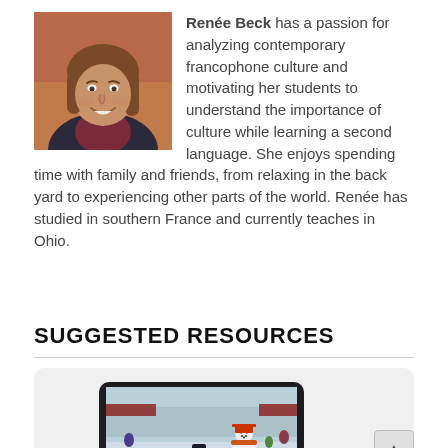[Figure (photo): Portrait photo of Renée Beck, a woman with shoulder-length brown hair, smiling, wearing a dark top, with a colorful background]
Renée Beck has a passion for analyzing contemporary francophone culture and motivating her students to understand the importance of culture while learning a second language. She enjoys spending time with family and friends, from relaxing in the back yard to experiencing other parts of the world. Renée has studied in southern France and currently teaches in Ohio.
SUGGESTED RESOURCES
[Figure (photo): Screenshot of a tablet showing a winter outdoor scene with a horse-drawn sleigh, a large snowman mascot, and a crowd of people at what appears to be a winter carnival or festival]